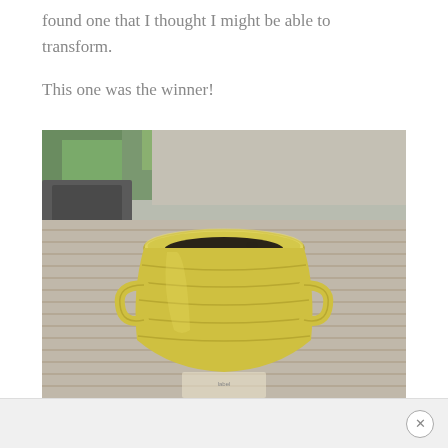found one that I thought I might be able to transform.
This one was the winner!
[Figure (photo): A yellow glazed ceramic vase or crock with decorative loop handles and ribbed body, photographed from above on a gray wooden deck with outdoor furniture and greenery blurred in the background.]